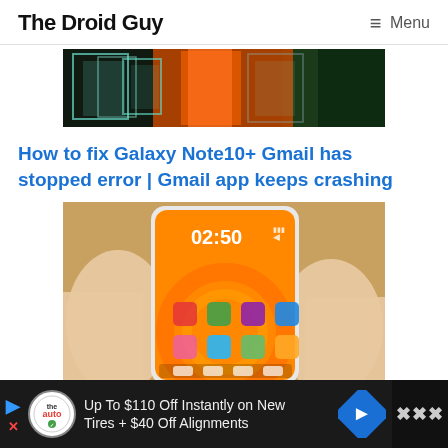The Droid Guy   ≡ Menu
[Figure (photo): Partially visible image of colorful transparent cubes and orange object on dark background, top of an article image]
How to fix Galaxy Note10+ Gmail has stopped error | Gmail app keeps crashing
[Figure (photo): Hands holding a Samsung smartphone with an orange home screen showing time 02:50 and various app icons, on a wooden table]
Up To $110 Off Instantly on New Tires + $40 Off Alignments